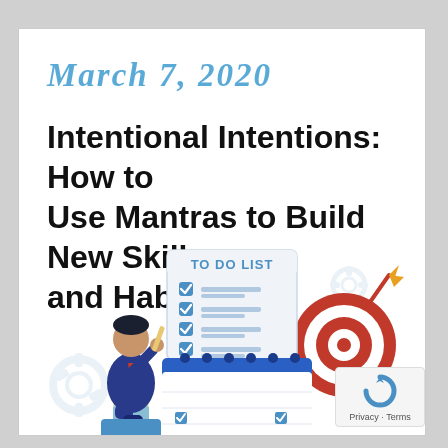March 7, 2020
Intentional Intentions: How to Use Mantras to Build New Skills and Habits
[Figure (illustration): Illustration of a person in a suit sitting and thinking, with a 'TO DO LIST' on a notepad with checkmarks, a blue calendar with checkmarks, and a target/bullseye with an arrow and dart. Gear icons are in the background.]
Privacy · Terms